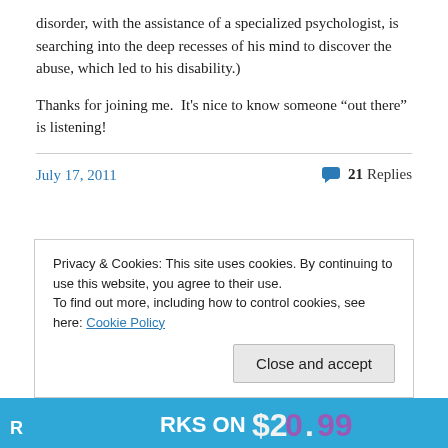disorder, with the assistance of a specialized psychologist, is searching into the deep recesses of his mind to discover the abuse, which led to his disability.)
Thanks for joining me.  It’s nice to know someone “out there” is listening!
July 17, 2011
21 Replies
Privacy & Cookies: This site uses cookies. By continuing to use this website, you agree to their use.
To find out more, including how to control cookies, see here: Cookie Policy
Close and accept
[Figure (other): Blue advertisement banner partially visible at bottom showing price $20.99]